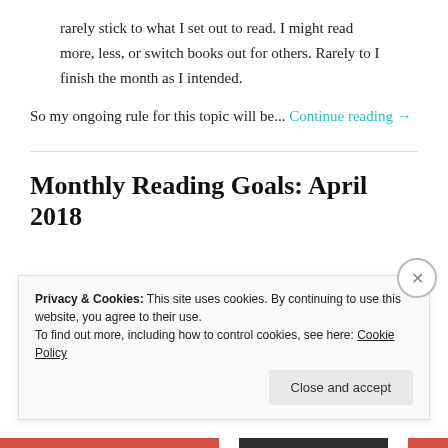rarely stick to what I set out to read. I might read more, less, or switch books out for others. Rarely to I finish the month as I intended.
So my ongoing rule for this topic will be... Continue reading →
Monthly Reading Goals: April 2018
Privacy & Cookies: This site uses cookies. By continuing to use this website, you agree to their use. To find out more, including how to control cookies, see here: Cookie Policy